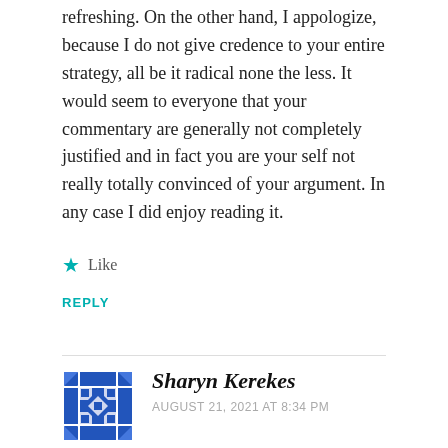refreshing. On the other hand, I appologize, because I do not give credence to your entire strategy, all be it radical none the less. It would seem to everyone that your commentary are generally not completely justified and in fact you are your self not really totally convinced of your argument. In any case I did enjoy reading it.
Like
REPLY
Sharyn Kerekes
AUGUST 21, 2021 AT 8:34 PM